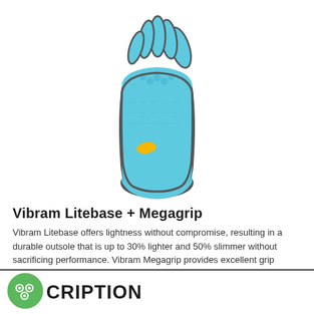[Figure (photo): Bottom sole view of a Vibram FiveFingers shoe in light blue/aqua color with dark grey toe separators. The sole shows a hexagonal grip pattern on the toe area, a light blue outsole body, and a small yellow oval accent near the arch. The individual toe pockets are clearly visible from the underside.]
Vibram Litebase + Megagrip
Vibram Litebase offers lightness without compromise, resulting in a durable outsole that is up to 30% lighter and 50% slimmer without sacrificing performance. Vibram Megagrip provides excellent grip properties on both wet and dry surfaces, while maintaining Vibram´s high standard of quality and durability.
CRIPTION